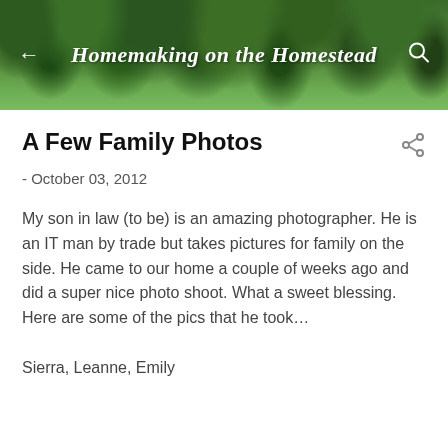Homemaking on the Homestead
A Few Family Photos
- October 03, 2012
My son in law (to be) is an amazing photographer. He is an IT man by trade but takes pictures for family on the side. He came to our home a couple of weeks ago and did a super nice photo shoot. What a sweet blessing. Here are some of the pics that he took…
Sierra, Leanne, Emily